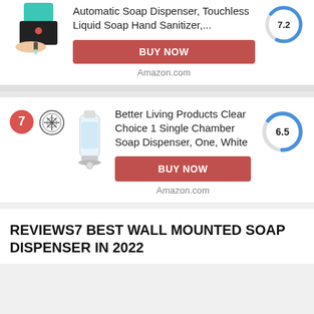Automatic Soap Dispenser, Touchless Liquid Soap Hand Sanitizer,...
BUY NOW
Amazon.com
[Figure (donut-chart): Circular score indicator showing 7.2, partially filled blue arc on gray ring]
7 - Better Living Products Clear Choice 1 Single Chamber Soap Dispenser, One, White
BUY NOW
Amazon.com
[Figure (donut-chart): Circular score indicator showing 6.5, blue arc on gray ring]
REVIEWS7 BEST WALL MOUNTED SOAP DISPENSER IN 2022